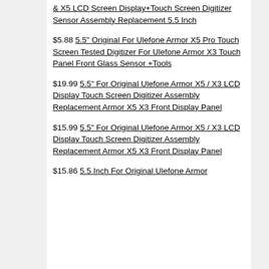& X5 LCD Screen Display+Touch Screen Digitizer Sensor Assembly Replacement 5.5 Inch
$5.88 5.5" Original For Ulefone Armor X5 Pro Touch Screen Tested Digitizer For Ulefone Armor X3 Touch Panel Front Glass Sensor +Tools
$19.99 5.5" For Original Ulefone Armor X5 / X3 LCD Display Touch Screen Digitizer Assembly Replacement Armor X5 X3 Front Display Panel
$15.99 5.5" For Original Ulefone Armor X5 / X3 LCD Display Touch Screen Digitizer Assembly Replacement Armor X5 X3 Front Display Panel
$15.86 5.5 Inch For Original Ulefone Armor